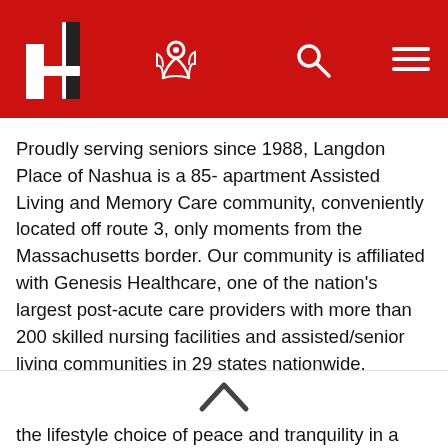[Navigation bar with logo, map icon, search icon, hamburger menu]
Proudly serving seniors since 1988, Langdon Place of Nashua is a 85- apartment Assisted Living and Memory Care community, conveniently located off route 3, only moments from the Massachusetts border. Our community is affiliated with Genesis Healthcare, one of the nation's largest post-acute care providers with more than 200 skilled nursing facilities and assisted/senior living communities in 29 states nationwide.
Langdon Place of Nashua offers residents not only the lifestyle choice of peace and tranquility in a remote setting,